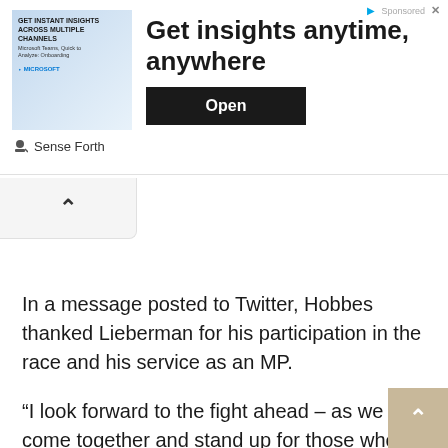[Figure (screenshot): Advertisement banner: Microsoft Fabric ad with text 'Get insights anytime, anywhere' and an 'Open' button. Shows 'Sense Forth' branding at bottom left.]
In a message posted to Twitter, Hobbes thanked Lieberman for his participation in the race and his service as an MP.
“I look forward to the fight ahead – as we all come together and stand up for those who are threatening our basic liberties in Arizona,” Hobbs wrote.